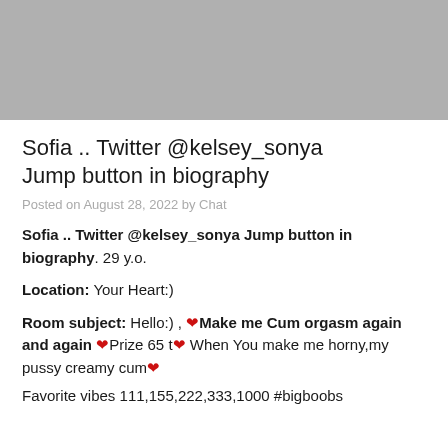[Figure (photo): Gray placeholder image area at top of page]
Sofia .. Twitter @kelsey_sonya Jump button in biography
Posted on August 28, 2022 by Chat
Sofia .. Twitter @kelsey_sonya Jump button in biography. 29 y.o.

Location: Your Heart:)

Room subject: Hello:) , ❤Make me Cum orgasm again and again ❤Prize 65 t❤ When You make me horny,my pussy creamy cum❤ Favorite vibes 111,155,222,333,1000 #bigboobs